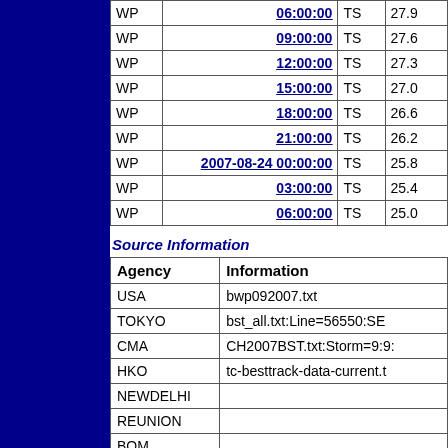|  | Time | Type | Value |
| --- | --- | --- | --- |
| WP | 06:00:00 | TS | 27.9 |
| WP | 09:00:00 | TS | 27.6 |
| WP | 12:00:00 | TS | 27.3 |
| WP | 15:00:00 | TS | 27.0 |
| WP | 18:00:00 | TS | 26.6 |
| WP | 21:00:00 | TS | 26.2 |
| WP | 2007-08-24 00:00:00 | TS | 25.8 |
| WP | 03:00:00 | TS | 25.4 |
| WP | 06:00:00 | TS | 25.0 |
Source Information
| Agency | Information |
| --- | --- |
| USA | bwp092007.txt |
| TOKYO | bst_all.txt:Line=56550:SE |
| CMA | CH2007BST.txt:Storm=9:9: |
| HKO | tc-besttrack-data-current.t |
| NEWDELHI |  |
| REUNION |  |
| BOM |  |
| NADI |  |